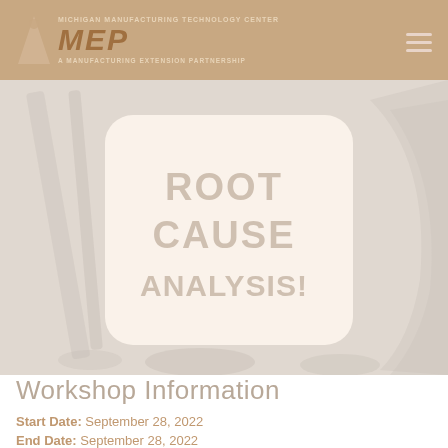[Figure (logo): MEP (Manufacturing Extension Partnership) logo with stylized triangle/figure icon, text 'MICHIGAN MANUFACTURING TECHNOLOGY CENTER' above and 'A MANUFACTURING EXTENSION PARTNERSHIP' below the MEP acronym in large italic letters]
[Figure (photo): Faded/washed-out photo of a keyboard key or button stamped with 'ROOT CAUSE ANALYSIS!' text, surrounded by blurred background elements suggesting office/technical setting]
Workshop Information
Start Date: September 28, 2022
End Date: September 28, 2022